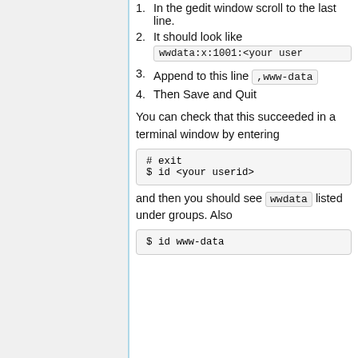1. In the gedit window scroll to the last line.
2. It should look like   wwdata:x:1001:<your user
3. Append to this line   ,www-data
4. Then Save and Quit
You can check that this succeeded in a terminal window by entering
# exit
$ id <your userid>
and then you should see wwdata listed under groups. Also
$ id www-data